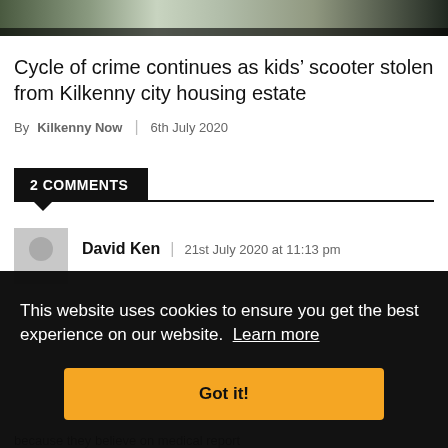[Figure (photo): Partial photo strip at top of page, showing what appears to be a person in a high-visibility vest, cropped to a thin horizontal strip]
Cycle of crime continues as kids’ scooter stolen from Kilkenny city housing estate
By Kilkenny Now | 6th July 2020
2 COMMENTS
David Ken | 21st July 2020 at 11:13 pm
This website uses cookies to ensure you get the best experience on our website. Learn more
Got it!
because they believe on medical report